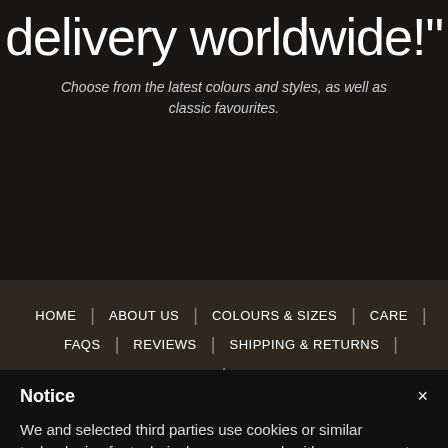delivery worldwide!"
Choose from the latest colours and styles, as well as classic favourites.
HOME | ABOUT US | COLOURS & SIZES | CARE |
FAQS | REVIEWS | SHIPPING & RETURNS |
Notice
We and selected third parties use cookies or similar technologies for technical purposes and, with your consent, for other purposes as specified in the cookie policy. Denying consent may make related features unavailable.
You can consent to the use of such technologies by closing this notice, by interacting with any link or button outside of this notice or by continuing to browse otherwise.